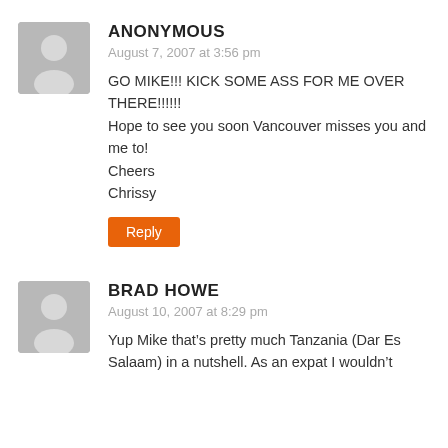ANONYMOUS
August 7, 2007 at 3:56 pm
GO MIKE!!! KICK SOME ASS FOR ME OVER THERE!!!!!!
Hope to see you soon Vancouver misses you and me to!
Cheers
Chrissy
Reply
BRAD HOWE
August 10, 2007 at 8:29 pm
Yup Mike that’s pretty much Tanzania (Dar Es Salaam) in a nutshell. As an expat I wouldn’t